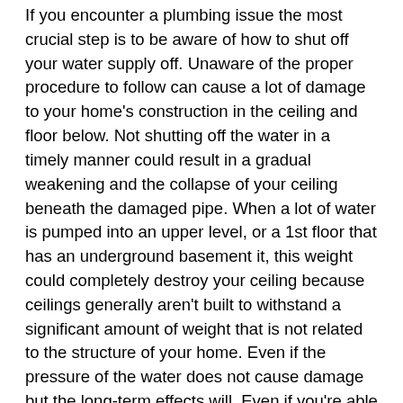If you encounter a plumbing issue the most crucial step is to be aware of how to shut off your water supply off. Unaware of the proper procedure to follow can cause a lot of damage to your home's construction in the ceiling and floor below. Not shutting off the water in a timely manner could result in a gradual weakening and the collapse of your ceiling beneath the damaged pipe. When a lot of water is pumped into an upper level, or a 1st floor that has an underground basement it, this weight could completely destroy your ceiling because ceilings generally aren't built to withstand a significant amount of weight that is not related to the structure of your home. Even if the pressure of the water does not cause damage but the long-term effects will. Even if you're able to get through the initial flow however, the water will degrade the wood studs and increase the chance that mold forms. The result will be the wood turning rotten, and will encourage the growth of mold. Because of this, it is essential to become familiar with the water system of your home and to be able to swiftly identify the shut off valves. We suggest you draw an easy-to-follow map that you can place in your bathroom or kitchen to avoid forgetting or are in your home in the event of a situation